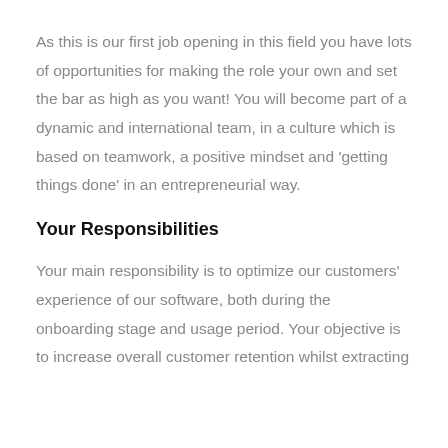As this is our first job opening in this field you have lots of opportunities for making the role your own and set the bar as high as you want! You will become part of a dynamic and international team, in a culture which is based on teamwork, a positive mindset and 'getting things done' in an entrepreneurial way.
Your Responsibilities
Your main responsibility is to optimize our customers' experience of our software, both during the onboarding stage and usage period. Your objective is to increase overall customer retention whilst extracting